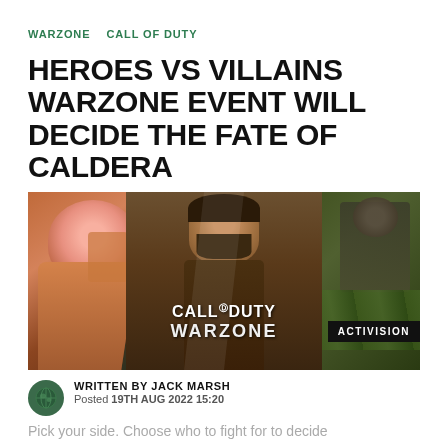WARZONE   CALL OF DUTY
HEROES VS VILLAINS WARZONE EVENT WILL DECIDE THE FATE OF CALDERA
[Figure (photo): Promotional image for Call of Duty Warzone Heroes vs Villains event showing three characters in a split panel layout with CALL OF DUTY WARZONE text and ACTIVISION badge]
WRITTEN BY JACK MARSH
Posted  19TH AUG 2022 15:20
Pick your side. Choose who to fight for to decide